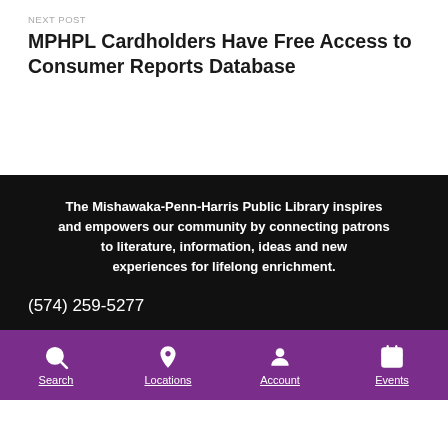NEXT POST
MPHPL Cardholders Have Free Access to Consumer Reports Database
The Mishawaka-Penn-Harris Public Library inspires and empowers our community by connecting patrons to literature, information, ideas and new experiences for lifelong enrichment.
(574) 259-5277
Search  Locations  Account  Events